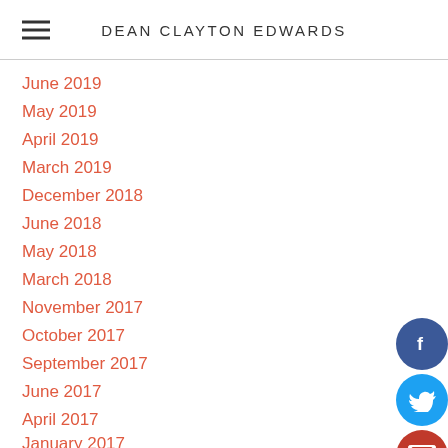DEAN CLAYTON EDWARDS
June 2019
May 2019
April 2019
March 2019
December 2018
June 2018
May 2018
March 2018
November 2017
October 2017
September 2017
June 2017
April 2017
January 2017
October 2016
July 2016
June 2016
[Figure (infographic): Social media icons: Facebook (dark blue circle), Twitter (cyan circle), Email (red circle), Instagram (pink circle)]